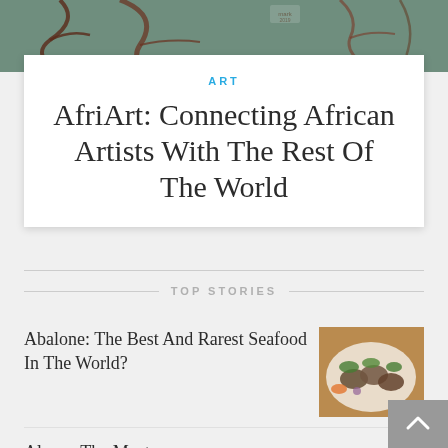[Figure (photo): Top portion of an art painting with dark branches/twigs against a muted green background]
ART
AfriArt: Connecting African Artists With The Rest Of The World
TOP STORIES
Abalone: The Best And Rarest Seafood In The World?
[Figure (photo): Plate of abalone seafood garnished with greens]
Almas: The Most